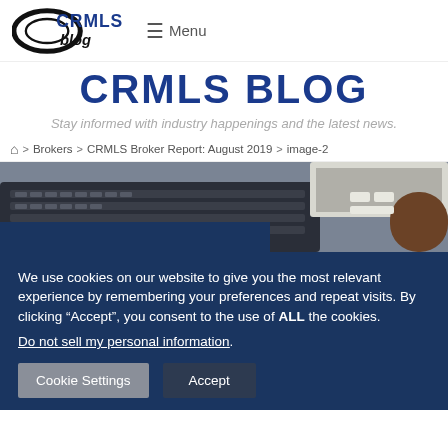CRMLS blog | Menu
CRMLS BLOG
Stay informed with industry happenings and the latest news.
Home > Brokers > CRMLS Broker Report: August 2019 > image-2
[Figure (photo): Photo of laptop keyboard and peripheral device on a desk]
We use cookies on our website to give you the most relevant experience by remembering your preferences and repeat visits. By clicking “Accept”, you consent to the use of ALL the cookies.
Do not sell my personal information.